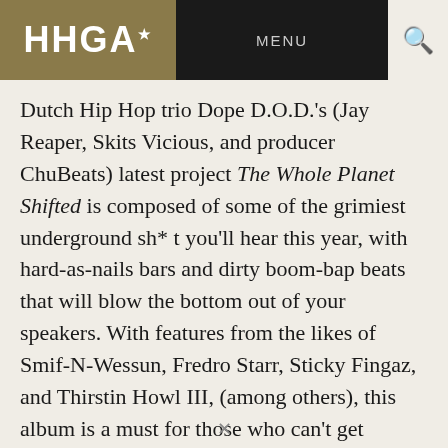HHGA MENU
Dutch Hip Hop trio Dope D.O.D.'s (Jay Reaper, Skits Vicious, and producer ChuBeats) latest project The Whole Planet Shifted is composed of some of the grimiest underground sh*t you'll hear this year, with hard-as-nails bars and dirty boom-bap beats that will blow the bottom out of your speakers. With features from the likes of Smif-N-Wessun, Fredro Starr, Sticky Fingaz, and Thirstin Howl III, (among others), this album is a must for those who can't get enough of 90s-centric hardcore boom-bap.